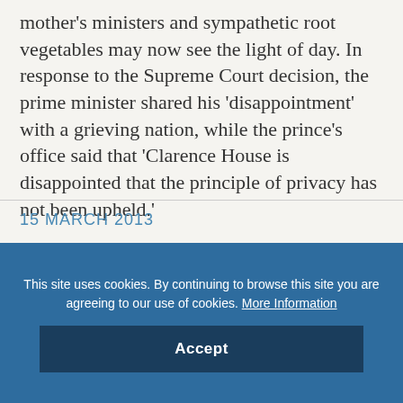mother's ministers and sympathetic root vegetables may now see the light of day. In response to the Supreme Court decision, the prime minister shared his 'disappointment' with a grieving nation, while the prince's office said that 'Clarence House is disappointed that the principle of privacy has not been upheld.'
15 MARCH 2013
[Figure (screenshot): Cookie consent overlay banner with blue background, message about cookies, More Information link, and Accept button]